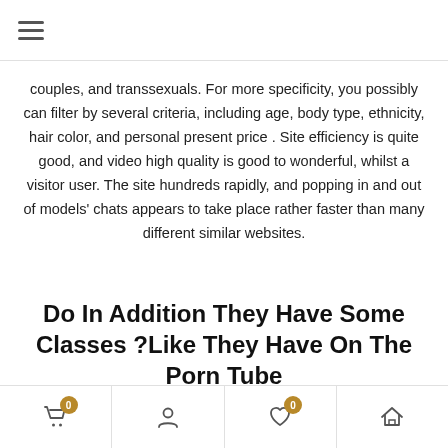≡
couples, and transsexuals. For more specificity, you possibly can filter by several criteria, including age, body type, ethnicity, hair color, and personal present price . Site efficiency is quite good, and video high quality is good to wonderful, whilst a visitor user. The site hundreds rapidly, and popping in and out of models' chats appears to take place rather faster than many different similar websites.
Do In Addition They Have Some Classes Like They Have On The Porn Tube?
Well, today I am taking the time to evaluation xhamster reside,
0 0